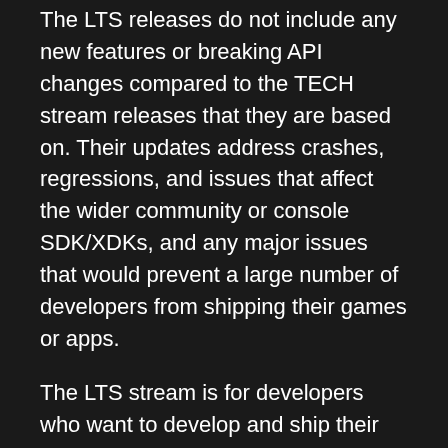The LTS releases do not include any new features or breaking API changes compared to the TECH stream releases that they are based on. Their updates address crashes, regressions, and issues that affect the wider community or console SDK/XDKs, and any major issues that would prevent a large number of developers from shipping their games or apps.
The LTS stream is for developers who want to develop and ship their projects on the most stable version and remain on this version for an extended period.
What version do you recommend for my project?
If you are in production or close to release, we recommend the latest LTS release. If you want to use the latest Unity features in your project or are just getting started with production, the TECH stream is recommended.
When will Unity 2020 LTS be available?